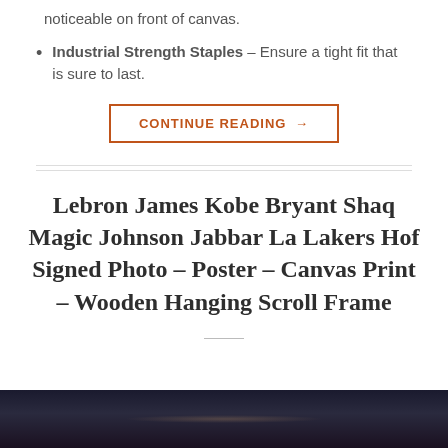noticeable on front of canvas.
Industrial Strength Staples – Ensure a tight fit that is sure to last.
CONTINUE READING →
Lebron James Kobe Bryant Shaq Magic Johnson Jabbar La Lakers Hof Signed Photo – Poster – Canvas Print – Wooden Hanging Scroll Frame
[Figure (photo): Dark background photo strip at bottom of page, partially visible product image]